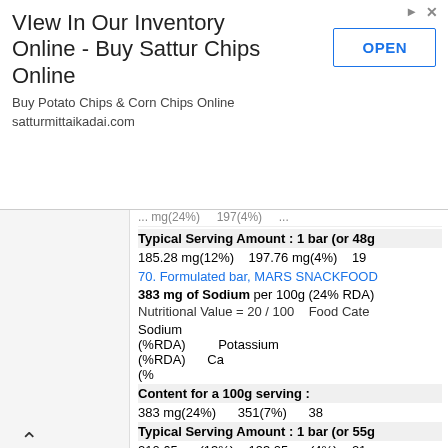[Figure (screenshot): Advertisement banner for Sattur Chips Online with title 'VIew In Our Inventory Online - Buy Sattur Chips Online', subtitle 'Buy Potato Chips & Corn Chips Online satturmittaikadai.com', and an OPEN button]
185.28 mg(12%)   197.76 mg(4%)   19
70. Formulated bar, MARS SNACKFOOD
383 mg of Sodium per 100g (24% RDA)
Nutritional Value = 20 / 100   Food Cate
Sodium (%RDA)   Potassium (%RDA)   Ca (%
Content for a 100g serving :
383 mg(24%)   351(7%)   38
Typical Serving Amount : 1 bar (or 55g
210.65 mg(13%)   193.05 mg(4%)   21
Other Serving Size : 1 bar (or 44g):
168.52 mg(11%)   154.44 mg(3%)   16
71. Snacks, granola bars, QUAKER OAT
367 mg of Sodium per 100g (23% RDA)
Nutritional Value = 15 / 100   Food Cate
Sodium (%RDA)   Potassium (%RDA)   Ca (%
Content for a 100g serving :